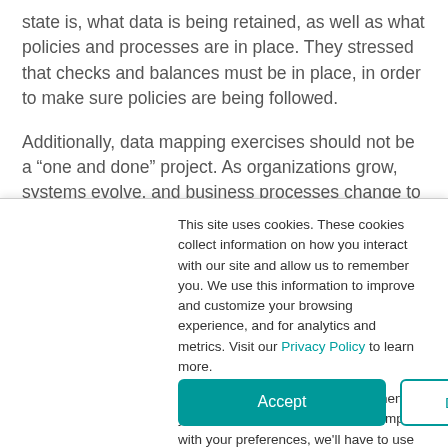state is, what data is being retained, as well as what policies and processes are in place. They stressed that checks and balances must be in place, in order to make sure policies are being followed.

Additionally, data mapping exercises should not be a “one and done” project. As organizations grow, systems evolve, and business processes change to meet demand, data sources are continually added. This means that a data map
This site uses cookies. These cookies collect information on how you interact with our site and allow us to remember you. We use this information to improve and customize your browsing experience, and for analytics and metrics. Visit our Privacy Policy to learn more.

We won't track your information when you visit our site. But in order to comply with your preferences, we'll have to use just one tiny cookie so that you're not asked to make this choice again.